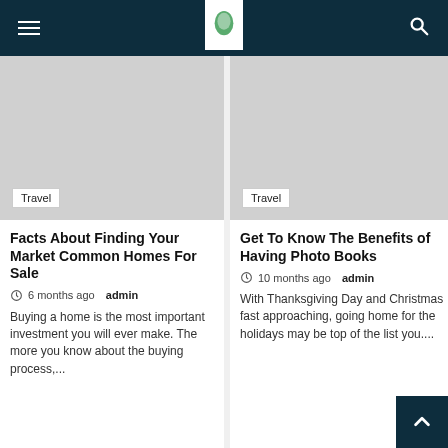Navigation bar with hamburger menu, logo, and search icon
[Figure (illustration): Gray image placeholder with Travel tag label, left column]
Travel
Facts About Finding Your Market Common Homes For Sale
6 months ago  admin
Buying a home is the most important investment you will ever make. The more you know about the buying process,...
[Figure (illustration): Gray image placeholder with Travel tag label, right column]
Travel
Get To Know The Benefits of Having Photo Books
10 months ago  admin
With Thanksgiving Day and Christmas fast approaching, going home for the holidays may be top of the list you....